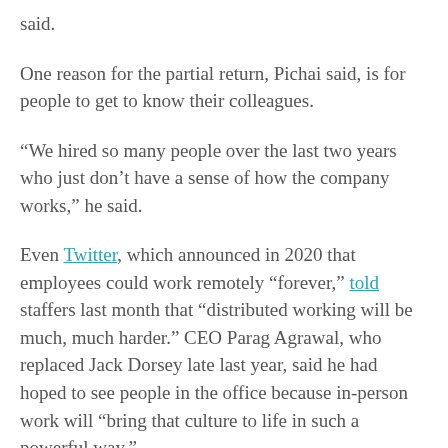said.
One reason for the partial return, Pichai said, is for people to get to know their colleagues.
“We hired so many people over the last two years who just don’t have a sense of how the company works,” he said.
Even Twitter, which announced in 2020 that employees could work remotely “forever,” told staffers last month that “distributed working will be much, much harder.” CEO Parag Agrawal, who replaced Jack Dorsey late last year, said he had hoped to see people in the office because in-person work will “bring that culture to life in such a powerful way.”
Wait and see